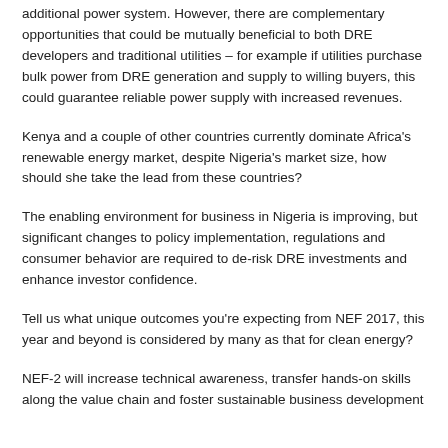additional power system. However, there are complementary opportunities that could be mutually beneficial to both DRE developers and traditional utilities – for example if utilities purchase bulk power from DRE generation and supply to willing buyers, this could guarantee reliable power supply with increased revenues.
Kenya and a couple of other countries currently dominate Africa's renewable energy market, despite Nigeria's market size, how should she take the lead from these countries?
The enabling environment for business in Nigeria is improving, but significant changes to policy implementation, regulations and consumer behavior are required to de-risk DRE investments and enhance investor confidence.
Tell us what unique outcomes you're expecting from NEF 2017, this year and beyond is considered by many as that for clean energy?
NEF-2 will increase technical awareness, transfer hands-on skills along the value chain and foster sustainable business development